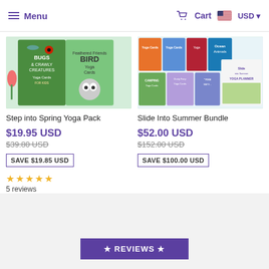Menu | Cart | USD
[Figure (photo): Product image for Step into Spring Yoga Pack — showing Bugs & Crawly Creatures Yoga Cards and Bird Yoga Cards with illustrated cover art]
[Figure (photo): Product image for Slide Into Summer Bundle — showing multiple yoga card packs and a Slide Into Summer Yoga Planner]
Step into Spring Yoga Pack
Slide Into Summer Bundle
$19.95 USD
$39.80 USD
SAVE $19.85 USD
$52.00 USD
$152.00 USD
SAVE $100.00 USD
5 reviews
★ REVIEWS ★